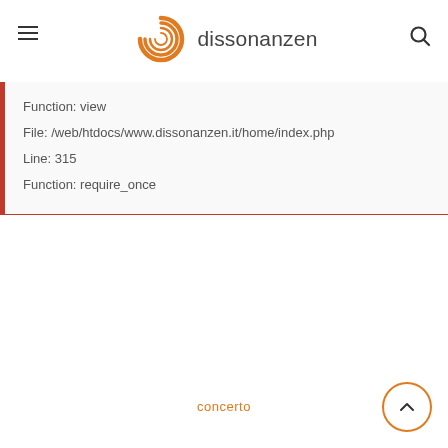dissonanzen
Function: view
File: /web/htdocs/www.dissonanzen.it/home/index.php
Line: 315
Function: require_once
concerto